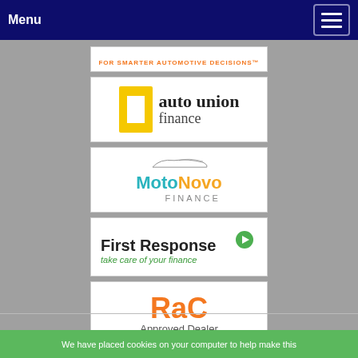Menu
[Figure (logo): Partial logo card with orange text: FOR SMARTER AUTOMOTIVE DECISIONS™]
[Figure (logo): Auto Union Finance logo — yellow bracket icon with 'auto union finance' text]
[Figure (logo): MotoNovo Finance logo — teal and orange brand name with car silhouette]
[Figure (logo): First Response logo — black bold text 'First Response' with green tagline 'take care of your finance' and green play-button icon]
[Figure (logo): RAC Approved Dealer logo — orange RAC text with grey 'Approved Dealer' subtitle]
We have placed cookies on your computer to help make this